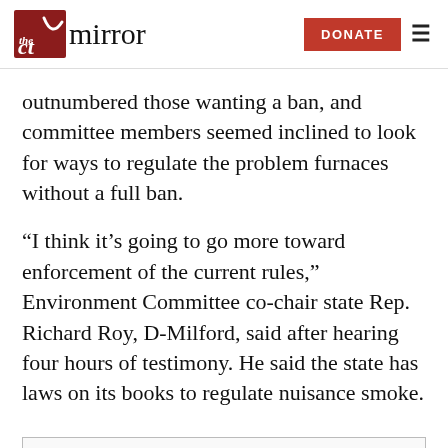the CT mirror — DONATE [menu]
outnumbered those wanting a ban, and committee members seemed inclined to look for ways to regulate the problem furnaces without a full ban.
“I think it’s going to go more toward enforcement of the current rules,” Environment Committee co-chair state Rep. Richard Roy, D-Milford, said after hearing four hours of testimony. He said the state has laws on its books to regulate nuisance smoke.